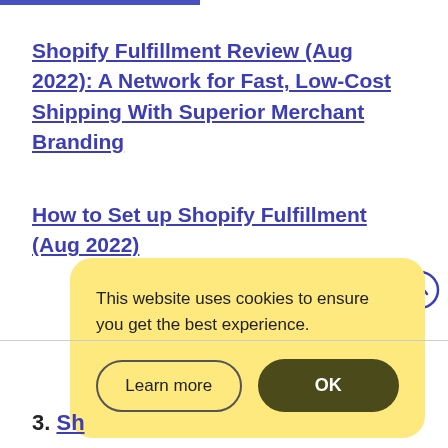Shopify Fulfillment Review (Aug 2022): A Network for Fast, Low-Cost Shipping With Superior Merchant Branding
How to Set up Shopify Fulfillment (Aug 2022)
This website uses cookies to ensure you get the best experience.
Learn more
OK
3. Sh...